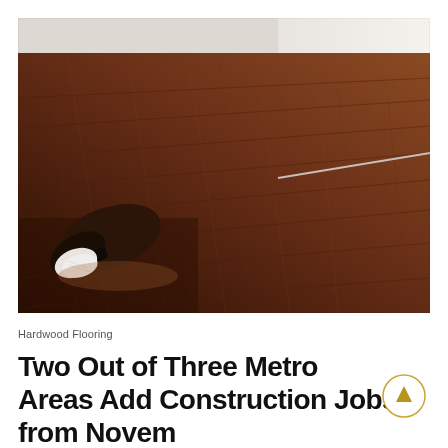[Figure (photo): Close-up photo of a hand using a tool to stain or finish a dark hardwood floor, with white baseboard molding visible in the background.]
Hardwood Flooring
Two Out of Three Metro Areas Add Construction Jobs from Novem...